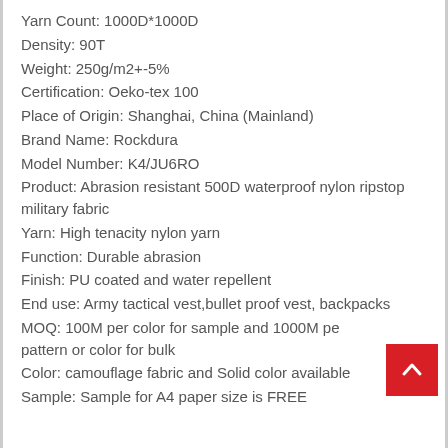Yarn Count: 1000D*1000D
Density: 90T
Weight: 250g/m2+-5%
Certification: Oeko-tex 100
Place of Origin: Shanghai, China (Mainland)
Brand Name: Rockdura
Model Number: K4/JU6RO
Product: Abrasion resistant 500D waterproof nylon ripstop military fabric
Yarn: High tenacity nylon yarn
Function: Durable abrasion
Finish: PU coated and water repellent
End use: Army tactical vest,bullet proof vest, backpacks
MOQ: 100M per color for sample and 1000M pe pattern or color for bulk
Color: camouflage fabric and Solid color available
Sample: Sample for A4 paper size is FREE